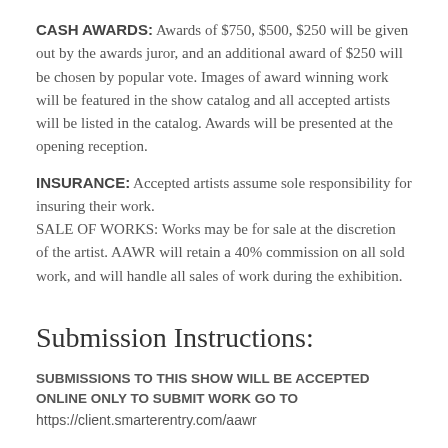CASH AWARDS: Awards of $750, $500, $250 will be given out by the awards juror, and an additional award of $250 will be chosen by popular vote. Images of award winning work will be featured in the show catalog and all accepted artists will be listed in the catalog. Awards will be presented at the opening reception.
INSURANCE: Accepted artists assume sole responsibility for insuring their work.
SALE OF WORKS: Works may be for sale at the discretion of the artist. AAWR will retain a 40% commission on all sold work, and will handle all sales of work during the exhibition.
Submission Instructions:
SUBMISSIONS TO THIS SHOW WILL BE ACCEPTED ONLINE ONLY TO SUBMIT WORK GO TO
https://client.smarterentry.com/aawr